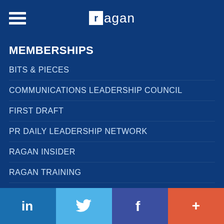ragan
MEMBERSHIPS
BITS & PIECES
COMMUNICATIONS LEADERSHIP COUNCIL
FIRST DRAFT
PR DAILY LEADERSHIP NETWORK
RAGAN INSIDER
RAGAN TRAINING
WRITER'S PASSPORT
TOPICS
LinkedIn | Twitter | Facebook | +